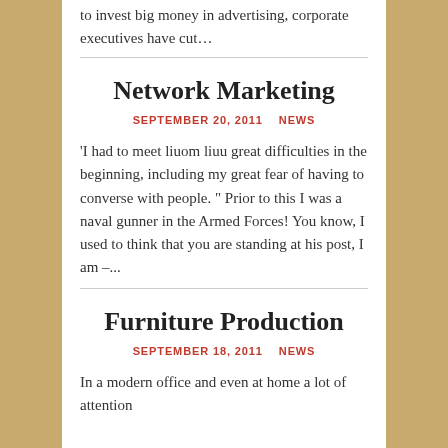to invest big money in advertising, corporate executives have cut...
Network Marketing
SEPTEMBER 20, 2011    NEWS
'I had to meet liuom liuu great difficulties in the beginning, including my great fear of having to converse with people. " Prior to this I was a naval gunner in the Armed Forces! You know, I used to think that you are standing at his post, I am –...
Furniture Production
SEPTEMBER 18, 2011    NEWS
In a modern office and even at home a lot of attention